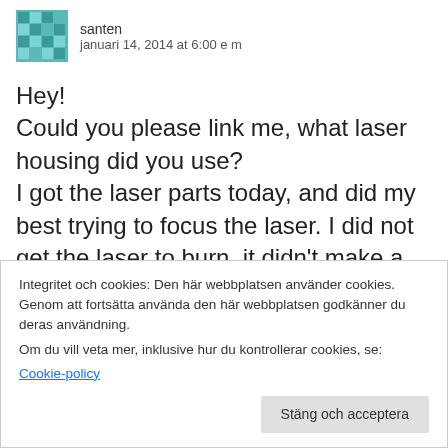santen
januari 14, 2014 at 6:00 e m
Hey!
Could you please link me, what laser housing did you use?
I got the laser parts today, and did my best trying to focus the laser. I did not get the laser to burn, it didn't make a paper even hot! I thought that the problem was in my multimeter,
Integritet och cookies: Den här webbplatsen använder cookies. Genom att fortsätta använda den här webbplatsen godkänner du deras användning.
Om du vill veta mer, inklusive hur du kontrollerar cookies, se:
Cookie-policy
Stäng och acceptera